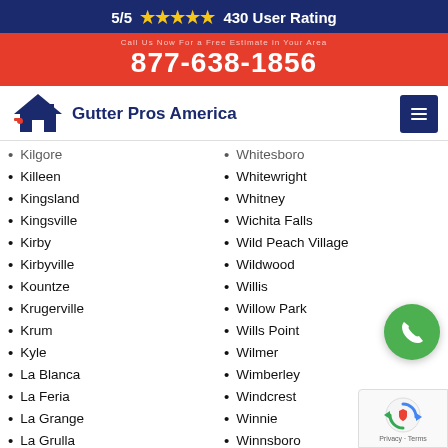5/5 ★★★★★ 430 User Rating
877-638-1856
[Figure (logo): Gutter Pros America logo with house icon and red/blue text]
Kilgore
Killeen
Kingsland
Kingsville
Kirby
Kirbyville
Kountze
Krugerville
Krum
Kyle
La Blanca
La Feria
La Grange
La Grulla
Whitesboro
Whitewright
Whitney
Wichita Falls
Wild Peach Village
Wildwood
Willis
Willow Park
Wills Point
Wilmer
Wimberley
Windcrest
Winnie
Winnsboro